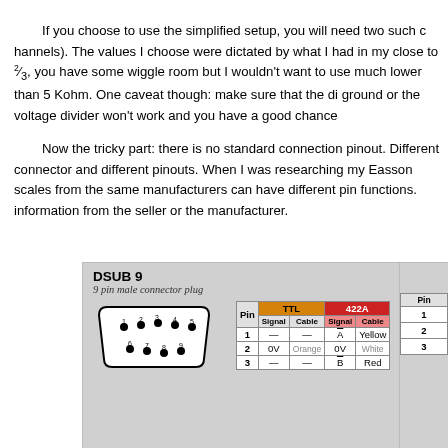If you choose to use the simplified setup, you will need two such channels). The values I choose were dictated by what I had in my close to ⅔, you have some wiggle room but I wouldn't want to use much lower than 5 Kohm. One caveat though: make sure that the di ground or the voltage divider won't work and you have a good chance
Now the tricky part: there is no standard connection pinout. Different connector and different pinouts. When I was researching my Easson scales from the same manufacturers can have different pin function. information from the seller or the manufacturer.
[Figure (schematic): DSUB 9 connector pinout diagram showing a 9 pin male connector plug with a table listing TTL and 422A signal/cable assignments for pins 1, 2, 3. Pin 1: TTL Signal=—, Cable=—, 422A Signal=Ā, Cable=Yellow. Pin 2: TTL Signal=0V, Cable=Orange, 422A Signal=0V, Cable=White. Pin 3: TTL Signal=—, Cable=—, 422A Signal=B̄, Cable=Red. Also shows partial 7 pin male connector stub on the right.]